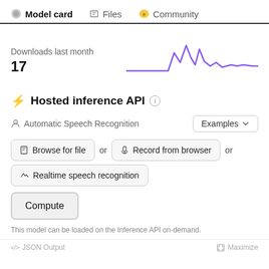Model card | Files | Community
Downloads last month
17
[Figure (line-chart): Purple line chart showing download activity over the last month with a spike in the middle]
⚡ Hosted inference API
Automatic Speech Recognition
Examples
Browse for file or Record from browser or Realtime speech recognition
Compute
This model can be loaded on the Inference API on-demand.
</> JSON Output    Maximize